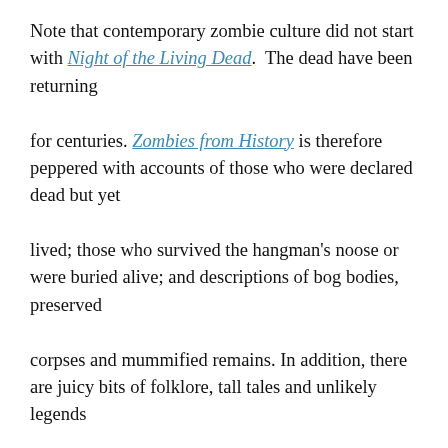Note that contemporary zombie culture did not start with Night of the Living Dead. The dead have been returning for centuries. Zombies from History is therefore peppered with accounts of those who were declared dead but yet lived; those who survived the hangman's noose or were buried alive; and descriptions of bog bodies, preserved corpses and mummified remains. In addition, there are juicy bits of folklore, tall tales and unlikely legends concerning the walking dead, most taken from historical accounts that stretch back more than a thousand years.
Over the next few days and weeks I'll be sharing some zombified portraits of famous Britons.  To kick off, here's the king of the corpses, Richard II on the dead Man...